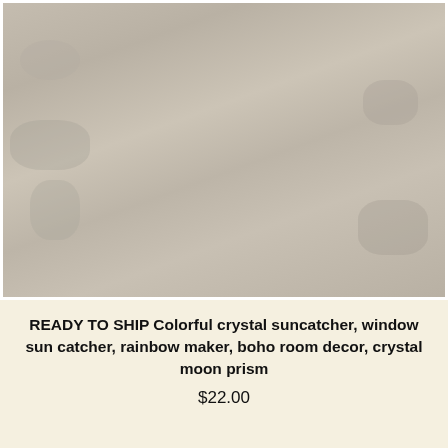[Figure (photo): A colorful crystal suncatcher with multicolored beads (green, pink, blue, red, orange, yellow, clear/crystal) arranged on a strand, with a large pink crystal/prism bead near the bottom, and a silver mermaid charm hanging from the end. The background is a sandy/concrete textured surface.]
READY TO SHIP Colorful crystal suncatcher, window sun catcher, rainbow maker, boho room decor, crystal moon prism
$22.00